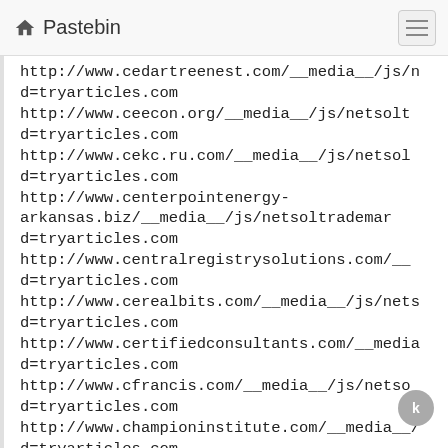Pastebin
http://www.cedartreenest.com/__media__/js/n
d=tryarticles.com
http://www.ceecon.org/__media__/js/netsolt
d=tryarticles.com
http://www.cekc.ru.com/__media__/js/netsol
d=tryarticles.com
http://www.centerpointenergy-arkansas.biz/__media__/js/netsoltradema
d=tryarticles.com
http://www.centralregistrysolutions.com/__
d=tryarticles.com
http://www.cerealbits.com/__media__/js/nets
d=tryarticles.com
http://www.certifiedconsultants.com/__media
d=tryarticles.com
http://www.cfrancis.com/__media__/js/netso
d=tryarticles.com
http://www.championinstitute.com/__media__/
d=tryarticles.com
http://www.charitycanada.net/__media__/js/n
d=tryarticles.com
http://www.charleshandy.com/__media__/js/ne
d=tryarticles.com
http://www.chartease.net/__media__/js/nets